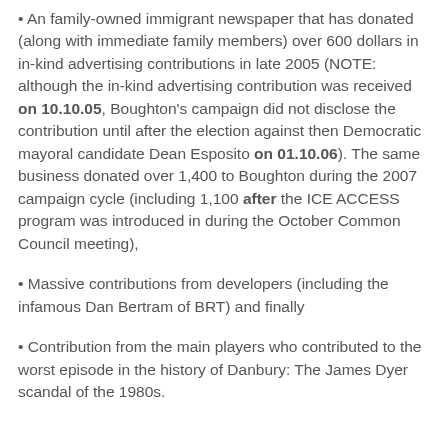An family-owned immigrant newspaper that has donated (along with immediate family members) over 600 dollars in in-kind advertising contributions in late 2005 (NOTE: although the in-kind advertising contribution was received on 10.10.05, Boughton's campaign did not disclose the contribution until after the election against then Democratic mayoral candidate Dean Esposito on 01.10.06). The same business donated over 1,400 to Boughton during the 2007 campaign cycle (including 1,100 after the ICE ACCESS program was introduced in during the October Common Council meeting),
Massive contributions from developers (including the infamous Dan Bertram of BRT) and finally
Contribution from the main players who contributed to the worst episode in the history of Danbury: The James Dyer scandal of the 1980s.